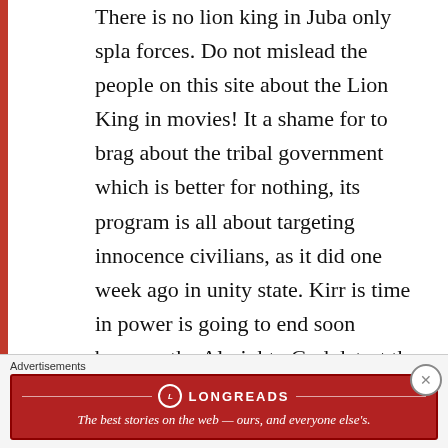There is no lion king in Juba only spla forces. Do not mislead the people on this site about the Lion King in movies! It a shame for to brag about the tribal government which is better for nothing, its program is all about targeting innocence civilians, as it did one week ago in unity state. Kirr is time in power is going to end soon because the Almighty God detest the killing of children, women, elder people and rape of young girls carried out by his forces. Therefore the power will be taken from him and gives it to someone which
Advertisements
[Figure (other): Longreads advertisement banner with red background. Logo circle with 'L' and text 'LONGREADS'. Tagline: The best stories on the web — ours, and everyone else's.]